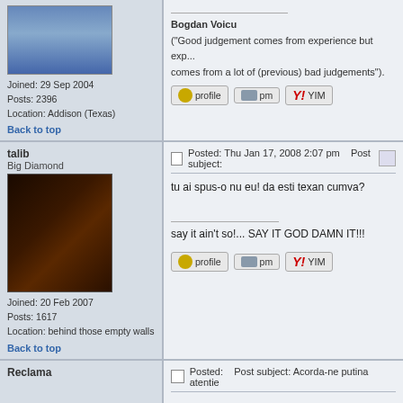Joined: 29 Sep 2004
Posts: 2396
Location: Addison (Texas)
Back to top
Bogdan Voicu
("Good judgement comes from experience but experience comes from a lot of (previous) bad judgements").
Posted: Thu Jan 17, 2008 2:07 pm   Post subject:
talib
Big Diamond
Joined: 20 Feb 2007
Posts: 1617
Location: behind those empty walls
Back to top
tu ai spus-o nu eu! da esti texan cumva?

say it ain't so!... SAY IT GOD DAMN IT!!!
Reclama
Posted:   Post subject: Acorda-ne putina atentie
Back to top